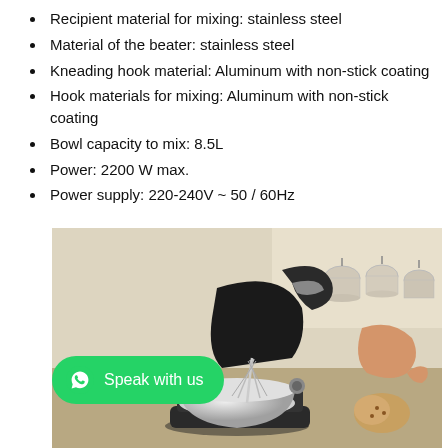Recipient material for mixing: stainless steel
Material of the beater: stainless steel
Kneading hook material: Aluminum with non-stick coating
Hook materials for mixing: Aluminum with non-stick coating
Bowl capacity to mix: 8.5L
Power: 2200 W max.
Power supply: 220-240V ~ 50 / 60Hz
[Figure (photo): A black and silver stand mixer with stainless steel bowl and whisk attachment, shown with the head tilted back. A hand is visible adding ingredients. A cat figurine is visible in the foreground. Kitchen background with hanging mugs.]
Speak with us